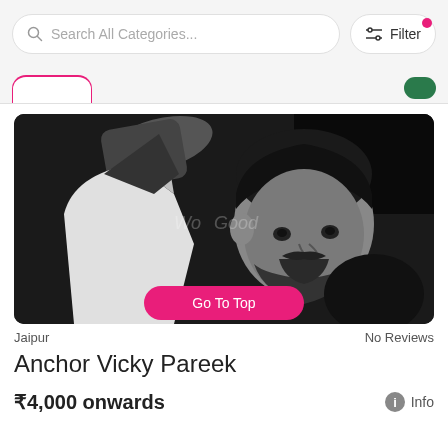Search All Categories...
Filter
[Figure (photo): Black and white photograph of a bearded man with dark hair, arm raised upward, wearing a white jacket with dark sleeve. Watermark text partially visible in background.]
Go To Top
Jaipur
No Reviews
Anchor Vicky Pareek
₹4,000 onwards
Info